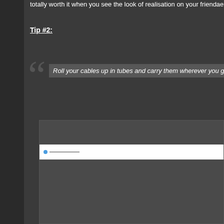totally worth it when you see the look of realisation on your friendae...
Tip #2:
Roll your cables up in tubes and carry them wherever you go...
[Figure (screenshot): Screenshot of a web interface or media player with a white bar element near the top of a dark grey panel]